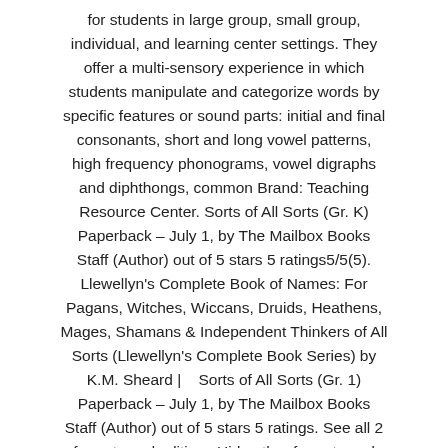for students in large group, small group, individual, and learning center settings. They offer a multi-sensory experience in which students manipulate and categorize words by specific features or sound parts: initial and final consonants, short and long vowel patterns, high frequency phonograms, vowel digraphs and diphthongs, common Brand: Teaching Resource Center. Sorts of All Sorts (Gr. K) Paperback – July 1, by The Mailbox Books Staff (Author) out of 5 stars 5 ratings5/5(5). Llewellyn's Complete Book of Names: For Pagans, Witches, Wiccans, Druids, Heathens, Mages, Shamans & Independent Thinkers of All Sorts (Llewellyn's Complete Book Series) by K.M. Sheard | .   Sorts of All Sorts (Gr. 1) Paperback – July 1, by The Mailbox Books Staff (Author) out of 5 stars 5 ratings. See all 2 formats and editions Hide other formats and editions. Price New from Used from 5/5(5).